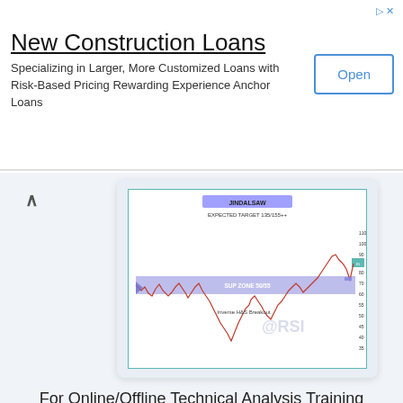New Construction Loans
Specializing in Larger, More Customized Loans with Risk-Based Pricing Rewarding Experience Anchor Loans
[Figure (continuous-plot): Stock chart for JINDALSAW showing expected target 135/155++, with SUP ZONE 50/55 horizontal band highlighted in purple/blue, Inverse H&S Breakout annotation, and @RSI watermark. Price action shows a multi-month chart with breakout above resistance zone.]
For Online/Offline Technical Analysis Training Cont: Stockstudy8@gmail.com
#Disclaimer : If you trade stocks, you do at your own risk. Trading/Investing in stocks carry high risk. Any trade or action you take in the market is your own responsibility. stockstudy8.com will not be liable for